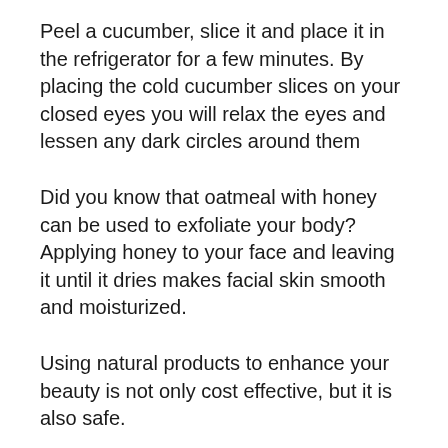Peel a cucumber, slice it and place it in the refrigerator for a few minutes. By placing the cold cucumber slices on your closed eyes you will relax the eyes and lessen any dark circles around them
Did you know that oatmeal with honey can be used to exfoliate your body? Applying honey to your face and leaving it until it dries makes facial skin smooth and moisturized.
Using natural products to enhance your beauty is not only cost effective, but it is also safe.